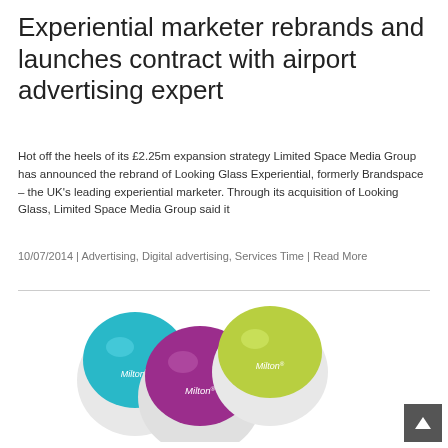Experiential marketer rebrands and launches contract with airport advertising expert
Hot off the heels of its £2.25m expansion strategy Limited Space Media Group has announced the rebrand of Looking Glass Experiential, formerly Brandspace – the UK's leading experiential marketer. Through its acquisition of Looking Glass, Limited Space Media Group said it
10/07/2014 | Advertising, Digital advertising, Services Time | Read More
[Figure (photo): Three Milton-branded round pill containers in teal/blue, purple, and lime green colors, arranged in a cluster against a white background.]